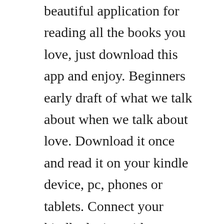beautiful application for reading all the books you love, just download this app and enjoy. Beginners early draft of what we talk about when we talk about love. Download it once and read it on your kindle device, pc, phones or tablets. Connect your kindle device with your computer using a usb cable. Leonardo da vinci pdf by walter isaacson bookspdf4free. The first volume in the bestselling letters of note series was a collection of hundreds of the worlds most entertaining, inspiring, and unusual letters, based on the seismically popular website of the same namean online